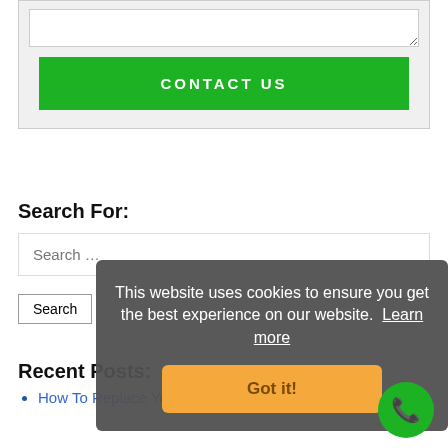[Figure (screenshot): A textarea input field at the top of the page with a resize handle in the bottom right corner]
CONTACT US
Search For:
Search …
Search
This website uses cookies to ensure you get the best experience on our website. Learn more
Got it!
Recent Posts:
How To Replace Your Garage Door Lock